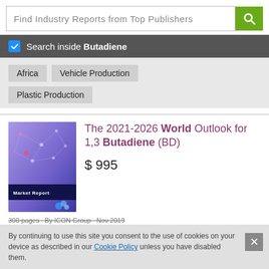Find Industry Reports from Top Publishers
Search inside Butadiene
Africa
Vehicle Production
Plastic Production
The 2021-2026 World Outlook for 1,3 Butadiene (BD)
$ 995
300 pages · By ICON Group · Nov 2019
By continuing to use this site you consent to the use of cookies on your device as described in our Cookie Policy unless you have disabled them.